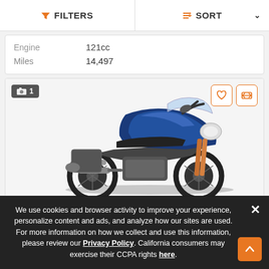FILTERS | SORT
|  |  |
| --- | --- |
| Engine | 121cc |
| Miles | 14,497 |
[Figure (photo): Blue Triumph adventure motorcycle facing right, with windscreen, side bags, and orange/gold front forks. Photo badge shows '1' photo. Heart and compare icons in top right.]
We use cookies and browser activity to improve your experience, personalize content and ads, and analyze how our sites are used. For more information on how we collect and use this information, please review our Privacy Policy. California consumers may exercise their CCPA rights here.